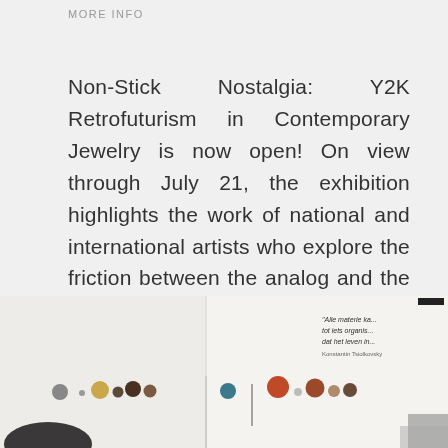MORE INFO
Non-Stick Nostalgia: Y2K Retrofuturism in Contemporary Jewelry is now open! On view through July 21, the exhibition highlights the work of national and international artists who explore the friction between the analog and the digital. The contemporary pieces channel an aesthetic that is plastic and pixelated, vibrant and glossy, amorphous or chromed, echoing the post-nascent Internet culture that has evolved since the dawn of the twenty-first century.
[Figure (photo): Gallery interior showing a row of small colorful sphere-shaped jewelry pieces mounted on a white wall, with a vertical divider and a quote text on upper right in Dutch. A dark disk sculpture is visible at lower left.]